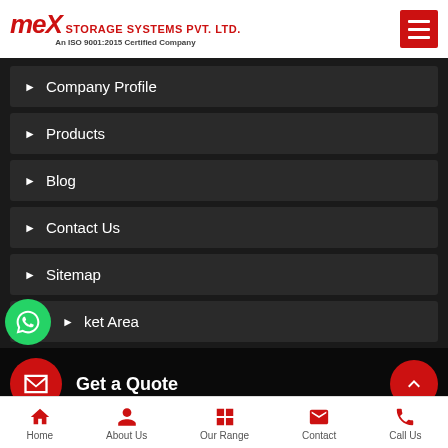[Figure (logo): MEX Storage Systems Pvt. Ltd. logo with red stylized MEX text and ISO 9001:2015 certification note]
▶ Company Profile
▶ Products
▶ Blog
▶ Contact Us
▶ Sitemap
▶ ket Area
Get a Quote
Home  About Us  Our Range  Contact  Call Us